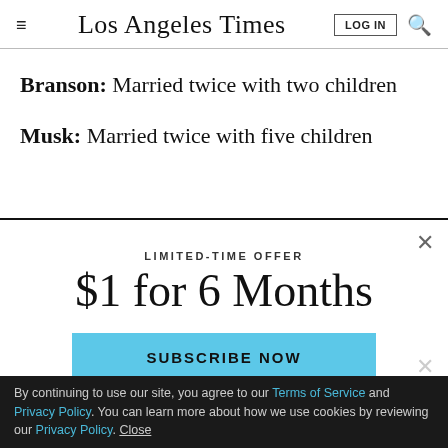Los Angeles Times
Branson:  Married twice with two children
Musk: Married twice with five children
LIMITED-TIME OFFER
$1 for 6 Months
SUBSCRIBE NOW
By continuing to use our site, you agree to our Terms of Service and Privacy Policy. You can learn more about how we use cookies by reviewing our Privacy Policy. Close